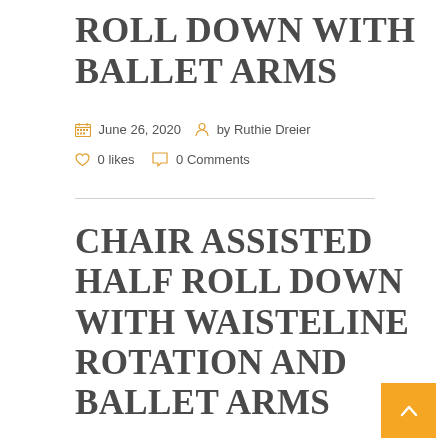ROLL DOWN WITH BALLET ARMS
June 26, 2020  by Ruthie Dreier  0 likes  0 Comments
CHAIR ASSISTED HALF ROLL DOWN WITH WAISTELINE ROTATION AND BALLET ARMS